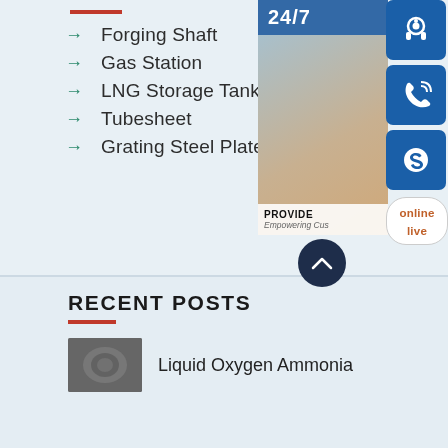Forging Shaft
Gas Station
LNG Storage Tank
Tubesheet
Grating Steel Plate
[Figure (infographic): Customer service sidebar showing 24/7 label, headset icons (headphones, phone, Skype), a photo of a woman with a headset, PROVIDE Empowering Customers text, online live button, and scroll-up arrow button]
RECENT POSTS
[Figure (photo): Small thumbnail photo, appears to be an industrial or liquid oxygen related image]
Liquid Oxygen Ammonia